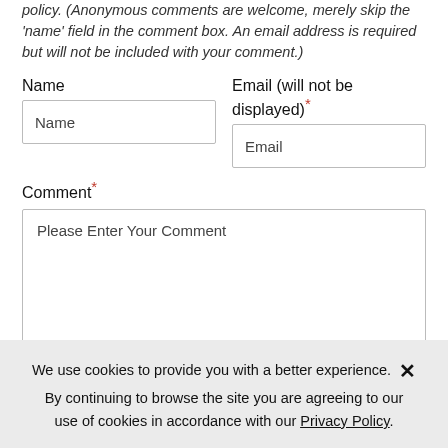policy. (Anonymous comments are welcome, merely skip the 'name' field in the comment box. An email address is required but will not be included with your comment.)
Name
Email (will not be displayed)*
Comment*
Please Enter Your Comment
We use cookies to provide you with a better experience. By continuing to browse the site you are agreeing to our use of cookies in accordance with our Privacy Policy.